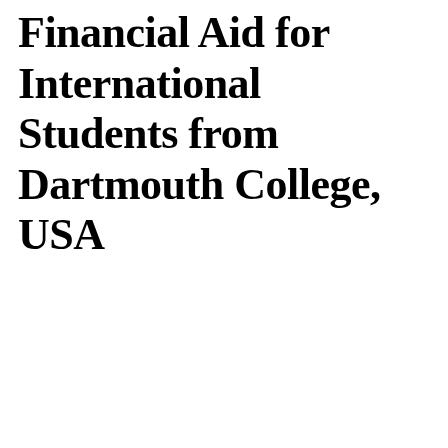Financial Aid for International Students from Dartmouth College, USA